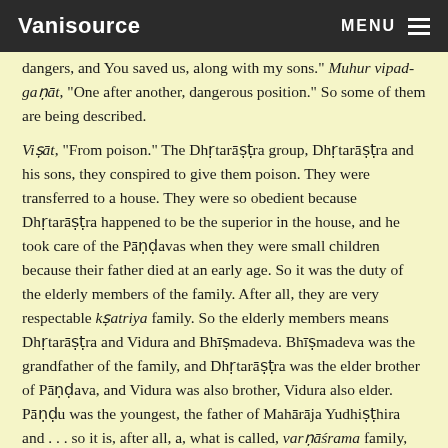Vanisource | MENU
dangers, and You saved us, along with my sons." Muhur vipad-gaṇāt, "One after another, dangerous position." So some of them are being described.
Viṣāt, "From poison." The Dhṛtarāṣṭra group, Dhṛtarāṣṭra and his sons, they conspired to give them poison. They were transferred to a house. They were so obedient because Dhṛtarāṣṭra happened to be the superior in the house, and he took care of the Pāṇḍavas when they were small children because their father died at an early age. So it was the duty of the elderly members of the family. After all, they are very respectable kṣatriya family. So the elderly members means Dhṛtarāṣṭra and Vidura and Bhīṣmadeva. Bhīṣmadeva was the grandfather of the family, and Dhṛtarāṣṭra was the elder brother of Pāṇḍava, and Vidura was also brother, Vidura also elder. Pāṇḍu was the youngest, the father of Mahārāja Yudhiṣṭhira and . . . so it is, after all, a, what is called, varṇāśrama family, Vedic